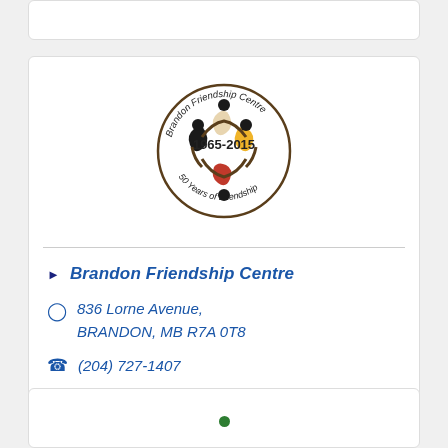[Figure (logo): Brandon Friendship Centre circular logo with four figures in red, yellow, black and white holding hands, text '1965-2015' in center and '50 Years of Friendship' at bottom, 'Brandon Friendship Centre' at top arc]
Brandon Friendship Centre
836 Lorne Avenue, BRANDON, MB R7A 0T8
(204) 727-1407